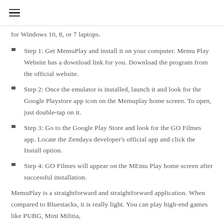≡
for Windows 10, 8, or 7 laptops.
Step 1: Get MemuPlay and install it on your computer. Memu Play Website has a download link for you. Download the program from the official website.
Step 2: Once the emulator is installed, launch it and look for the Google Playstore app icon on the Memuplay home screen. To open, just double-tap on it.
Step 3: Go to the Google Play Store and look for the GO Filmes app. Locate the Zendaya developer's official app and click the Install option.
Step 4: GO Filmes will appear on the MEmu Play home screen after successful installation.
MemuPlay is a straightforward and straightforward application. When compared to Bluestacks, it is really light. You can play high-end games like PUBG, Mini Militia,